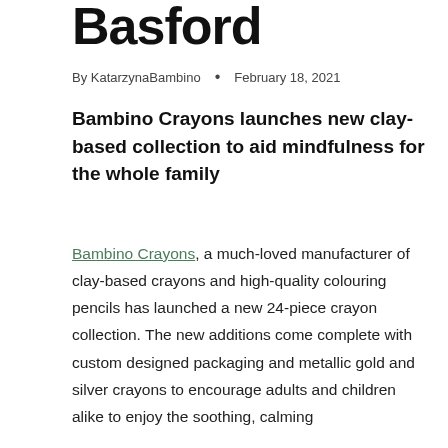Basford
By KatarzynaBambino • February 18, 2021
Bambino Crayons launches new clay-based collection to aid mindfulness for the whole family
Bambino Crayons, a much-loved manufacturer of clay-based crayons and high-quality colouring pencils has launched a new 24-piece crayon collection. The new additions come complete with custom designed packaging and metallic gold and silver crayons to encourage adults and children alike to enjoy the soothing, calming